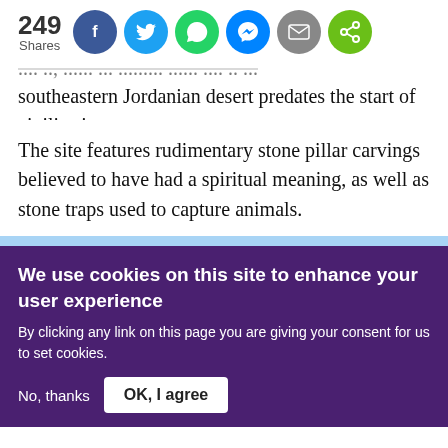[Figure (infographic): Social share bar showing 249 Shares count with 6 social media icon buttons: Facebook (blue), Twitter (light blue), WhatsApp (green), Messenger (blue), Email (grey), Share (green)]
southeastern Jordanian desert predates the start of civilisation.
The site features rudimentary stone pillar carvings believed to have had a spiritual meaning, as well as stone traps used to capture animals.
We use cookies on this site to enhance your user experience
By clicking any link on this page you are giving your consent for us to set cookies.
No, thanks    OK, I agree